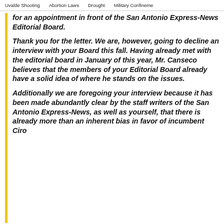Uvalde Shooting   Abortion Laws   Drought   Military Confinement
for an appointment in front of the San Antonio Express-News Editorial Board.

Thank you for the letter. We are, however, going to decline an interview with your Board this fall. Having already met with the editorial board in January of this year, Mr. Canseco believes that the members of your Editorial Board already have a solid idea of where he stands on the issues.

Additionally we are foregoing your interview because it has been made abundantly clear by the staff writers of the San Antonio Express-News, as well as yourself, that there is already more than an inherent bias in favor of incumbent Ciro